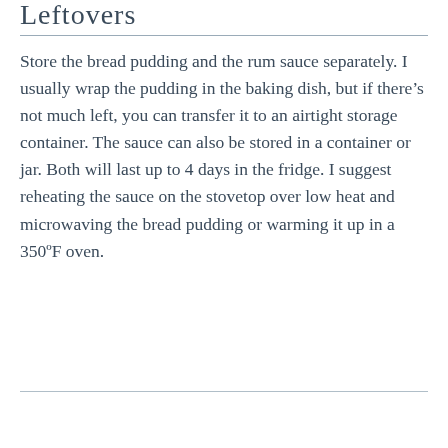Leftovers
Store the bread pudding and the rum sauce separately. I usually wrap the pudding in the baking dish, but if there’s not much left, you can transfer it to an airtight storage container. The sauce can also be stored in a container or jar. Both will last up to 4 days in the fridge. I suggest reheating the sauce on the stovetop over low heat and microwaving the bread pudding or warming it up in a 350ºF oven.